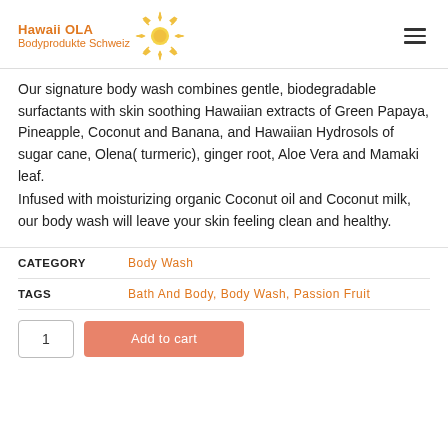Hawaii OLA Bodyprodukte Schweiz
Our signature body wash combines gentle, biodegradable surfactants with skin soothing Hawaiian extracts of Green Papaya, Pineapple, Coconut and Banana, and Hawaiian Hydrosols of sugar cane, Olena( turmeric), ginger root, Aloe Vera and Mamaki leaf. Infused with moisturizing organic Coconut oil and Coconut milk, our body wash will leave your skin feeling clean and healthy.
|  |  |
| --- | --- |
| CATEGORY | Body Wash |
| TAGS | Bath And Body, Body Wash, Passion Fruit |